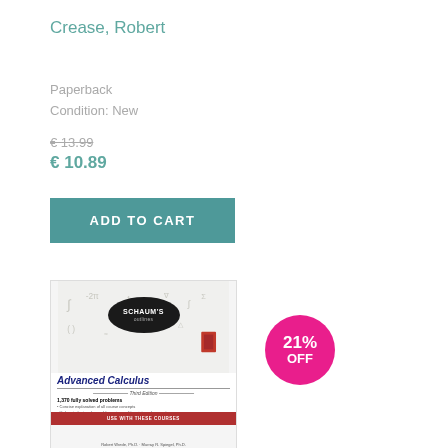Crease, Robert
Paperback
Condition: New
€13.99
€ 10.89
ADD TO CART
[Figure (photo): Book cover of Schaum's Outlines Advanced Calculus, Third Edition]
21% OFF